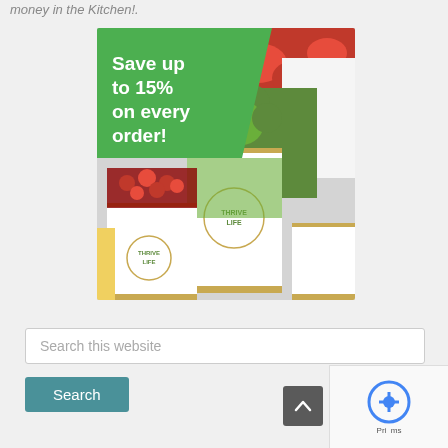money in the Kitchen!.
[Figure (photo): Advertisement for Thrive Life freeze-dried food products. Shows cans of freeze-dried broccoli, raspberries, and corn with a green overlay banner reading 'Save up to 15% on every order!']
Search this website
Search